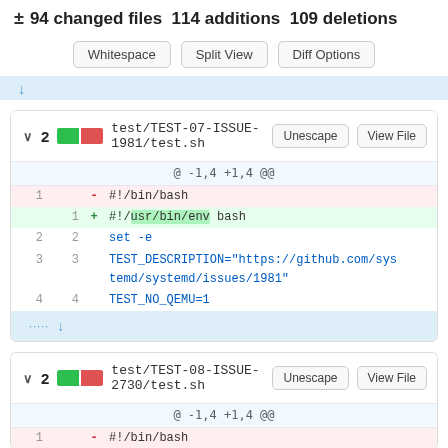± 94 changed files 114 additions 109 deletions
Whitespace | Split View | Diff Options
test/TEST-07-ISSUE-1981/test.sh — Unescape | View File
@ -1,4 +1,4 @@
1  - #!/bin/bash
   1 + #!/usr/bin/env bash
2  2   set -e
3  3   TEST_DESCRIPTION="https://github.com/systemd/systemd/issues/1981"
4  4   TEST_NO_QEMU=1
test/TEST-08-ISSUE-2730/test.sh — Unescape | View File
@ -1,4 +1,4 @@
1  - #!/bin/bash